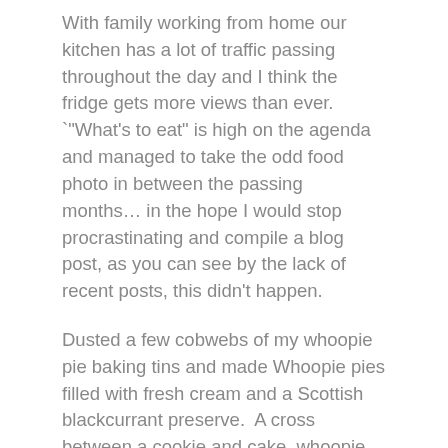With family working from home our kitchen has a lot of traffic passing throughout the day and I think the fridge gets more views than ever. `"What's to eat" is high on the agenda and managed to take the odd food photo in between the passing months… in the hope I would stop procrastinating and compile a blog post, as you can see by the lack of recent posts, this didn't happen.
Dusted a few cobwebs of my whoopie pie baking tins and made Whoopie pies filled with fresh cream and a Scottish blackcurrant preserve.  A cross between a cookie and cake, whoopie pies originated from the Amish community of New England and began as a cost saving way of using leftover batter. These sweet treats were sandwiched together with a sweet filling (originally marshmallow) and often tucked inside lunchboxes. Kids would shout "Whooppie" on seeing them and apparently, that is how the name came about. I do love